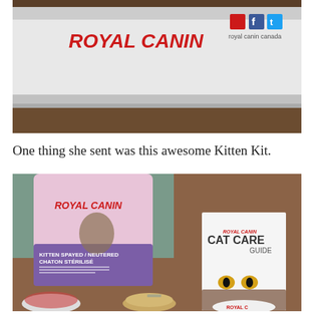[Figure (photo): Photo of a Royal Canin branded white box on a wooden table, showing the Royal Canin logo in red text and social media icons (Facebook, Twitter) with text 'royal canin canada' in the top right corner.]
One thing she sent was this awesome Kitten Kit.
[Figure (photo): Photo showing Royal Canin Kitten Spayed/Neutered Chaton Stérilisé food pouch, a Royal Canin Cat Care Guide booklet, a can of cat food with pull tab, a bowl with cat food, and a white Royal Canin branded disc, all on a wooden table.]